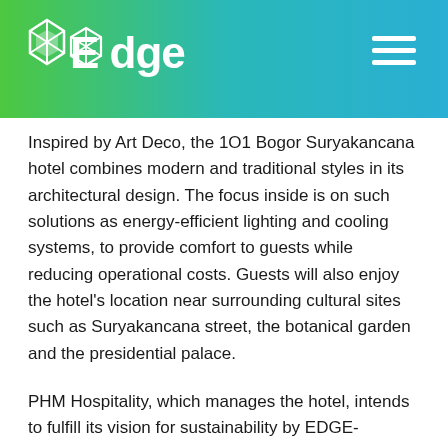Edge
Inspired by Art Deco, the 1O1 Bogor Suryakancana hotel combines modern and traditional styles in its architectural design. The focus inside is on such solutions as energy-efficient lighting and cooling systems, to provide comfort to guests while reducing operational costs. Guests will also enjoy the hotel's location near surrounding cultural sites such as Suryakancana street, the botanical garden and the presidential palace.
PHM Hospitality, which manages the hotel, intends to fulfill its vision for sustainability by EDGE-certifying existing and new properties across the country. The 1O1 Bogor Suryakancana has received final EDGE certification from the Green Building Council Indonesia.